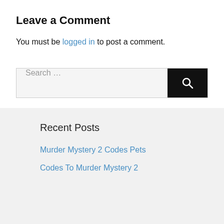Leave a Comment
You must be logged in to post a comment.
Search ...
Recent Posts
Murder Mystery 2 Codes Pets
Codes To Murder Mystery 2